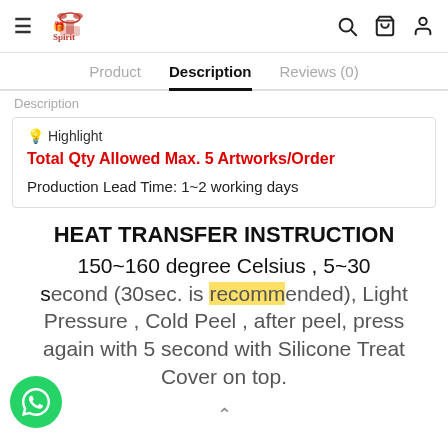≡  [Logo: gift store] | 🔍 🛒 👤
Product   Description   Reviews (0)
Description
💡 Highlight
Total Qty Allowed Max. 5 Artworks/Order
Production Lead Time: 1~2 working days
HEAT TRANSFER INSTRUCTION
150~160 degree Celsius , 5~30 second (30sec. is recommended), Light Pressure , Cold Peel , after peel, press again with 5 second with Silicone Treat Cover on top.